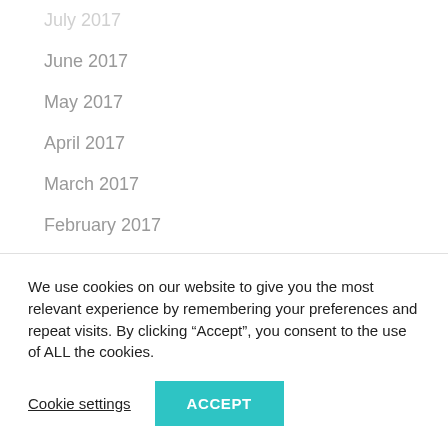July 2017
June 2017
May 2017
April 2017
March 2017
February 2017
January 2017
December 2016
November 2016
October 2016
We use cookies on our website to give you the most relevant experience by remembering your preferences and repeat visits. By clicking “Accept”, you consent to the use of ALL the cookies.
Cookie settings
ACCEPT